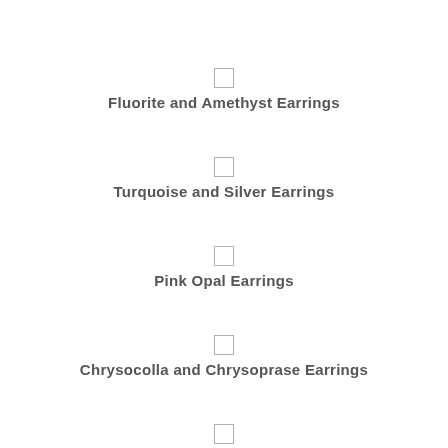Fluorite and Amethyst Earrings
Turquoise and Silver Earrings
Pink Opal Earrings
Chrysocolla and Chrysoprase Earrings
Green Garnet Pendant